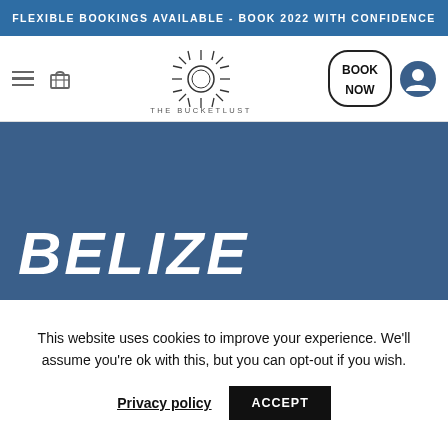FLEXIBLE BOOKINGS AVAILABLE - BOOK 2022 WITH CONFIDENCE
[Figure (logo): The Bucketlust logo with sun/flower icon and text THE BUCKETLUST, plus BOOK NOW button and user icon in navigation bar]
[Figure (photo): Hero image area with dark steel blue background showing large bold italic white text BELIZE]
This website uses cookies to improve your experience. We'll assume you're ok with this, but you can opt-out if you wish.
Privacy policy   ACCEPT